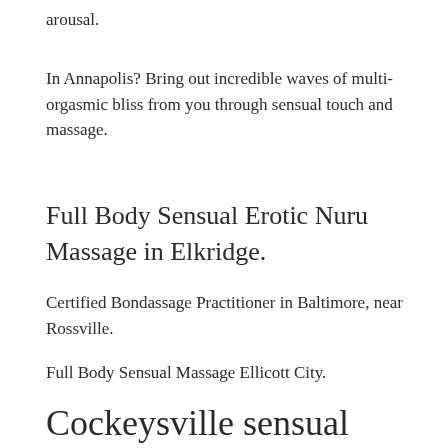arousal.
In Annapolis? Bring out incredible waves of multi-orgasmic bliss from you through sensual touch and massage.
Full Body Sensual Erotic Nuru Massage in Elkridge.
Certified Bondassage Practitioner in Baltimore, near Rossville.
Full Body Sensual Massage Ellicott City.
Cockeysville sensual